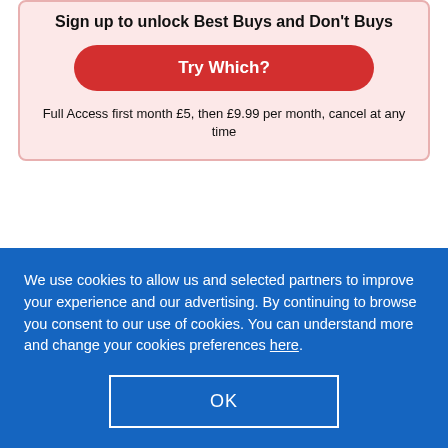Sign up to unlock Best Buys and Don't Buys
[Figure (other): Red rounded button labeled 'Try Which?']
Full Access first month £5, then £9.99 per month, cancel at any time
Suggested alternatives
We use cookies to allow us and selected partners to improve your experience and our advertising. By continuing to browse you consent to our use of cookies. You can understand more and change your cookies preferences here.
OK